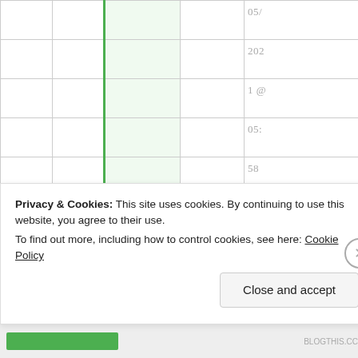|  |  |  |  | 05/ |
|  |  |  |  | 202 |
|  |  |  |  | 1 @ |
|  |  |  |  | 05: |
|  |  |  |  | 58 |
|  |  |  |  | at |
|  |  |  |  | 05: |
|  |  |  |  | 58 |
|  |  |  | 8-5-21: W – can't log in again this |  |
Privacy & Cookies: This site uses cookies. By continuing to use this website, you agree to their use.
To find out more, including how to control cookies, see here: Cookie Policy
Close and accept